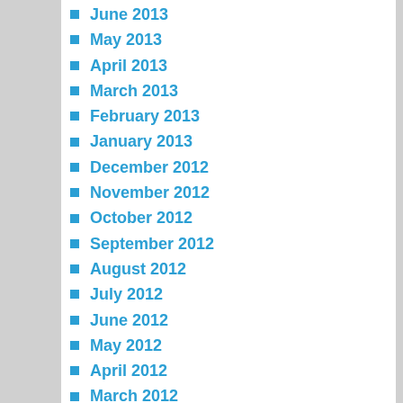June 2013
May 2013
April 2013
March 2013
February 2013
January 2013
December 2012
November 2012
October 2012
September 2012
August 2012
July 2012
June 2012
May 2012
April 2012
March 2012
February 2012
January 2012
December 2011
November 2011
October 2011
September 2011